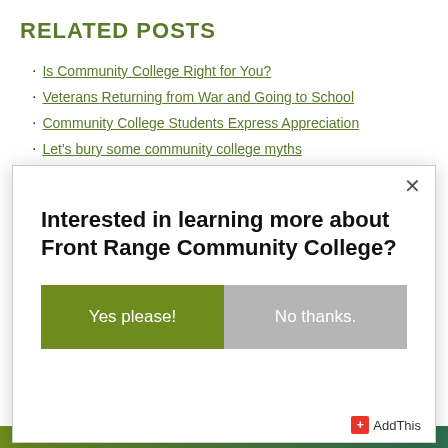RELATED POSTS
Is Community College Right for You?
Veterans Returning from War and Going to School
Community College Students Express Appreciation
Let's bury some community college myths
Documentary: Veterans with PTSD Returning to College
Interested in learning more about Front Range Community College?
Yes please!
No thanks.
AddThis